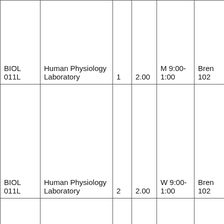| Course | Title | Section | Units | Time | Room |
| --- | --- | --- | --- | --- | --- |
| BIOL 011L | Human Physiology Laboratory | 1 | 2.00 | M 9:00-1:00 | Bren 102 |
| BIOL 011L | Human Physiology Laboratory | 2 | 2.00 | W 9:00-1:00 | Bren 102 |
| BIOL 015 | Human Biology | 1 | 3.00 | MW 1100- | ARR |